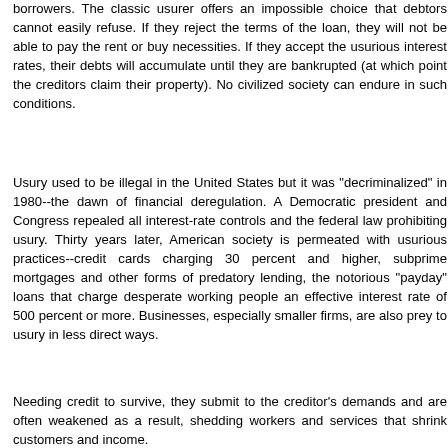borrowers. The classic usurer offers an impossible choice that debtors cannot easily refuse. If they reject the terms of the loan, they will not be able to pay the rent or buy necessities. If they accept the usurious interest rates, their debts will accumulate until they are bankrupted (at which point the creditors claim their property). No civilized society can endure in such conditions.
Usury used to be illegal in the United States but it was "decriminalized" in 1980--the dawn of financial deregulation. A Democratic president and Congress repealed all interest-rate controls and the federal law prohibiting usury. Thirty years later, American society is permeated with usurious practices--credit cards charging 30 percent and higher, subprime mortgages and other forms of predatory lending, the notorious "payday" loans that charge desperate working people an effective interest rate of 500 percent or more. Businesses, especially smaller firms, are also prey to usury in less direct ways.
Needing credit to survive, they submit to the creditor's demands and are often weakened as a result, shedding workers and services that shrink customers and income.